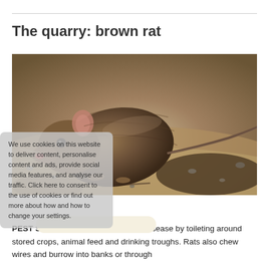The quarry: brown rat
[Figure (photo): Close-up photograph of a brown rat on sandy/gravelly ground, facing left, showing fur detail and red-tipped nose]
PEST STATUS: This rodent spreads disease by toileting around stored crops, animal feed and drinking troughs. Rats also chew wires and burrow into banks or through